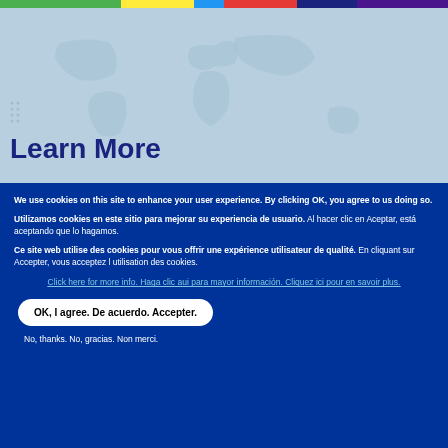[Figure (illustration): Color bar strip at top with green, yellow, blue, red, dark blue, purple segments]
[Figure (illustration): Light blue hero banner with faded world map background]
Learn More
We use cookies on this site to enhance your user experience. By clicking OK, you agree to us doing so.
Utilizamos cookies en este sitio para mejorar su experiencia de usuario. Al hacer clic en Aceptar, está aceptando que lo hagamos.
Ce site web utilise des cookies pour vous offrir une expérience utilisateur de qualité. En cliquant sur Accepter, vous acceptez l utilisation des cookies.
Click here for more info. Haga clic aui para mayor información. Cliquez ici pour en savoir plus.
OK, I agree. De acuerdo. Accepter.
No, thanks. No, gracias. Non merci.